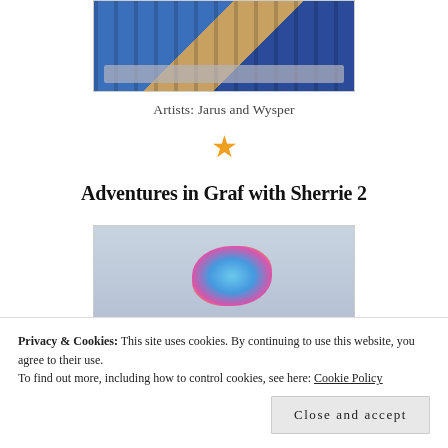[Figure (photo): Graffiti/street art photo showing colorful mural with stairs, partially cropped at top of page]
Artists: Jarus and Wysper
★
Adventures in Graf with Sherrie 2
[Figure (photo): Graffiti/street art in progress on a wall, showing colorful lettering with rainbow elements on grey concrete]
Privacy & Cookies: This site uses cookies. By continuing to use this website, you agree to their use. To find out more, including how to control cookies, see here: Cookie Policy
Close and accept